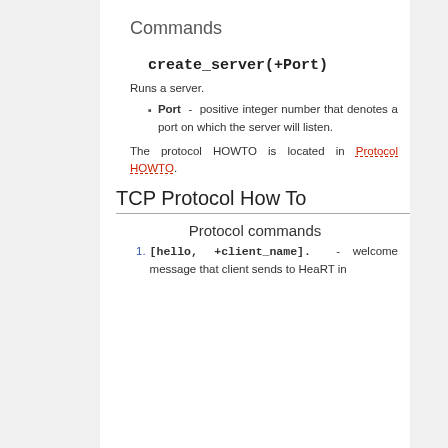Commands
create_server(+Port)
Runs a server.
Port - positive integer number that denotes a port on which the server will listen.
The protocol HOWTO is located in Protocol HOWTO.
TCP Protocol How To
Protocol commands
[hello, +client_name]. - welcome message that client sends to HeaRT in